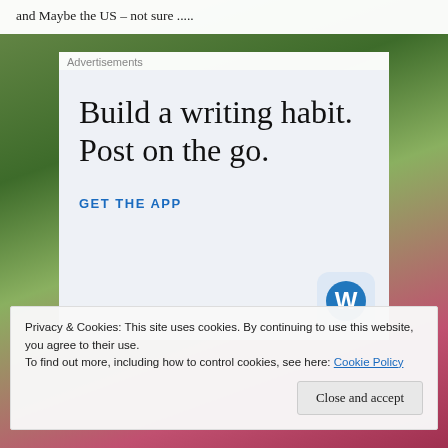and Maybe the US – not sure .....
Advertisements
[Figure (infographic): WordPress advertisement box with light blue background. Headline reads 'Build a writing habit. Post on the go.' with a 'GET THE APP' call-to-action link in blue and the WordPress logo icon (blue W in a circle on a light blue rounded square) in the bottom right.]
Privacy & Cookies: This site uses cookies. By continuing to use this website, you agree to their use.
To find out more, including how to control cookies, see here: Cookie Policy
Close and accept